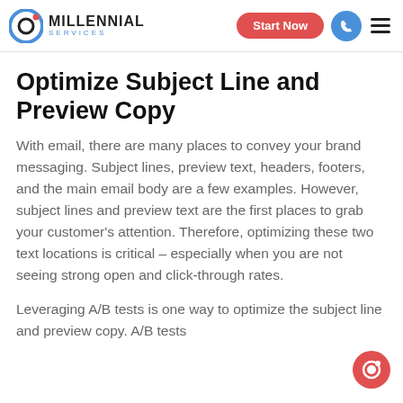Millennial Services — Start Now
Optimize Subject Line and Preview Copy
With email, there are many places to convey your brand messaging. Subject lines, preview text, headers, footers, and the main email body are a few examples. However, subject lines and preview text are the first places to grab your customer's attention. Therefore, optimizing these two text locations is critical – especially when you are not seeing strong open and click-through rates.
Leveraging A/B tests is one way to optimize the subject line and preview copy. A/B tests